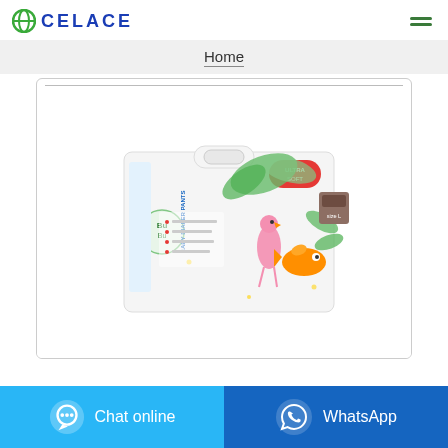CELACE (logo with hamburger menu)
Home
[Figure (photo): A package of Baby Diaper Pants with colorful cartoon animal illustrations including a flamingo and fish on a white background with green tropical leaf designs.]
Chat online
WhatsApp